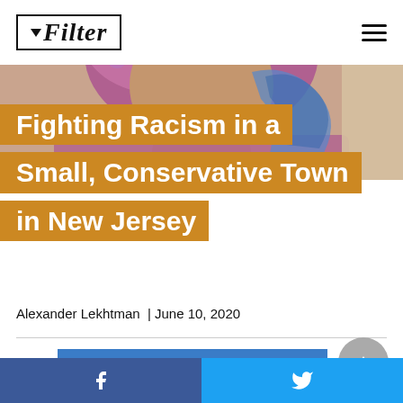[Figure (logo): Filter magazine logo in italic serif font inside a rectangular border]
[Figure (photo): Close-up photo of a person wearing a colorful headwrap/hijab in purple and blue tones]
Fighting Racism in a Small, Conservative Town in New Jersey
Alexander Lekhtman  |  June 10, 2020
[Figure (other): Blue Subscribe button with white envelope icon and Subscribe text]
Facebook share button | Twitter share button